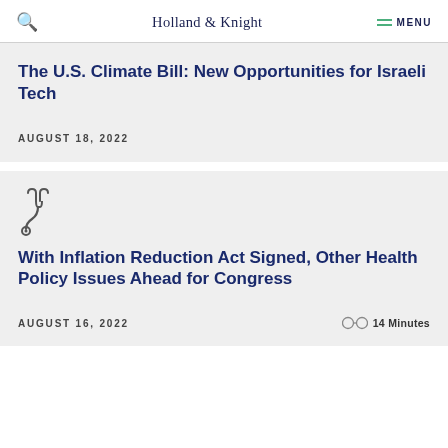Holland & Knight  MENU
The U.S. Climate Bill: New Opportunities for Israeli Tech
AUGUST 18, 2022
[Figure (illustration): Stethoscope icon]
With Inflation Reduction Act Signed, Other Health Policy Issues Ahead for Congress
AUGUST 16, 2022  14 Minutes